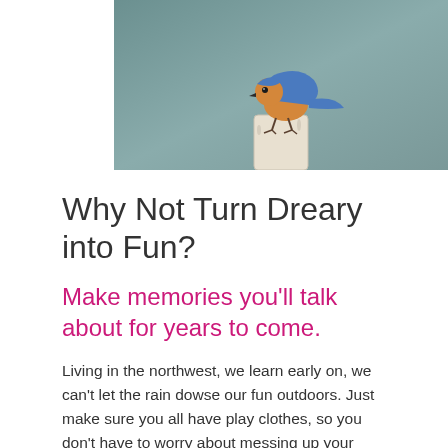[Figure (photo): A bluebird perched on top of a white post or block, viewed from close up. The bird has blue wings and an orange-brown breast. Background is a muted teal/gray.]
Why Not Turn Dreary into Fun?
Make memories you'll talk about for years to come.
Living in the northwest, we learn early on, we can't let the rain dowse our fun outdoors. Just make sure you all have play clothes, so you don't have to worry about messing up your good ones.